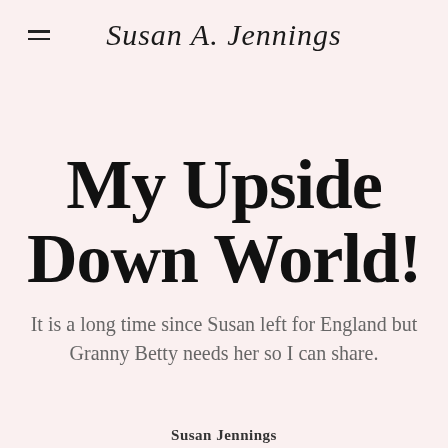Susan A. Jennings
My Upside Down World!
It is a long time since Susan left for England but Granny Betty needs her so I can share.
Susan Jennings